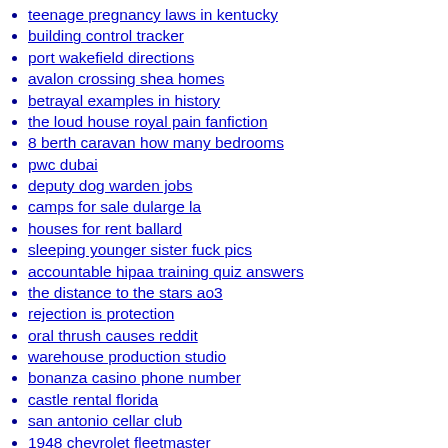teenage pregnancy laws in kentucky
building control tracker
port wakefield directions
avalon crossing shea homes
betrayal examples in history
the loud house royal pain fanfiction
8 berth caravan how many bedrooms
pwc dubai
deputy dog warden jobs
camps for sale dularge la
houses for rent ballard
sleeping younger sister fuck pics
accountable hipaa training quiz answers
the distance to the stars ao3
rejection is protection
oral thrush causes reddit
warehouse production studio
bonanza casino phone number
castle rental florida
san antonio cellar club
1948 chevrolet fleetmaster
narrow gauge railway thomas
vampire diaries x child reader wattpad
how much does it cost to modify a custody order in pa